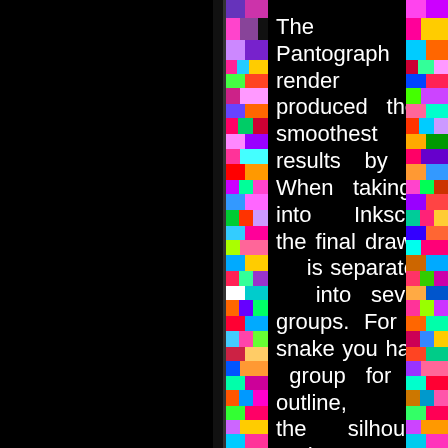[Figure (illustration): Colorful mosaic/pixel art strip on the left side of a black background, featuring vivid multi-colored squares and rectangles in pink, green, blue, purple, red, yellow, and orange arranged in a vertical band.]
The Pantograph render produced the smoothest results by far. When taking it into Inkscape the final drawing is separated into several groups. For the snake you had a group for the outline, the silhouette and the wireframe.
Depending on the complexity of your model you may
[Figure (illustration): Colorful mosaic/pixel art strip on the right edge, featuring vivid multi-colored squares and rectangles in similar colors to the left strip.]